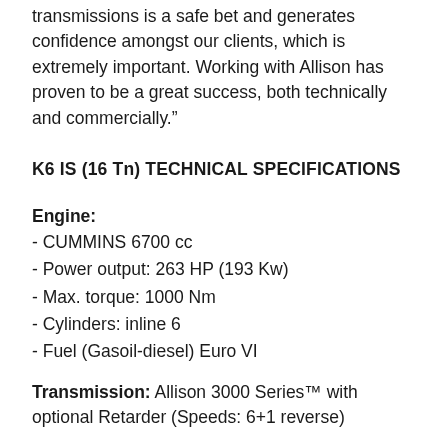transmissions is a safe bet and generates confidence amongst our clients, which is extremely important. Working with Allison has proven to be a great success, both technically and commercially.”
K6 IS (16 Tn) TECHNICAL SPECIFICATIONS
Engine:
- CUMMINS 6700 cc
- Power output: 263 HP (193 Kw)
- Max. torque: 1000 Nm
- Cylinders: inline 6
- Fuel (Gasoil-diesel) Euro VI
Transmission: Allison 3000 Series™ with optional Retarder (Speeds: 6+1 reverse)
Distribution box:
- 2-speed (low-range – high-range and neutral),